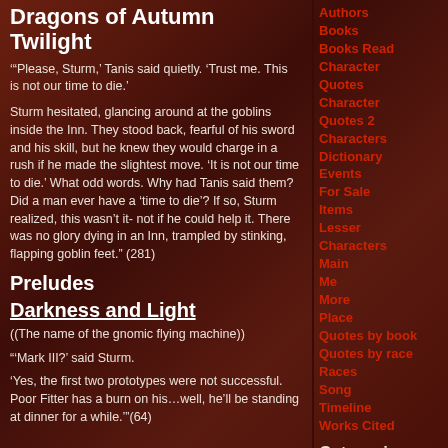Dragons of Autumn Twilight
'"Please, Sturm,' Tanis said quietly. 'Trust me. This is not our time to die.'

Sturm hesitated, glancing around at the goblins inside the Inn. They stood back, fearful of his sword and his skill, but he knew they would charge in a rush if he made the slightest move. 'It is not our time to die.' What odd words. Why had Tanis said them? Did a man ever have a 'time to die'? If so, Sturm realized, this wasn't it- not if he could help it. There was no glory dying in an Inn, trampled by stinking, flapping goblin feet." (281)
Preludes
Darkness and Light
((The name of the gnomic flying machine))
"'Mark III?' said Sturm.
'Yes, the first two prototypes were not successful. Poor Fitter has a burn on his…well, he'll be standing at dinner for a while.'"(64)
Authors
Books
Books Read
Character Quotes
Character Quotes 2
Characters
Dictionary
Events
For Sale
Items
Lesser Characters
Main
Me
More
Place
Quotes by book
Quotes by race
Races
Song
Timeline
Works Cited
Categories
Categories
No categories